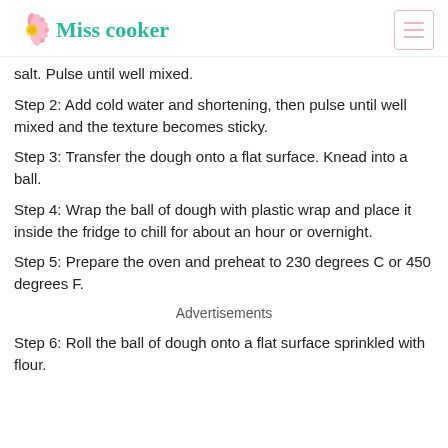Miss cooker
salt. Pulse until well mixed.
Step 2: Add cold water and shortening, then pulse until well mixed and the texture becomes sticky.
Step 3: Transfer the dough onto a flat surface. Knead into a ball.
Step 4: Wrap the ball of dough with plastic wrap and place it inside the fridge to chill for about an hour or overnight.
Step 5: Prepare the oven and preheat to 230 degrees C or 450 degrees F.
Advertisements
Step 6: Roll the ball of dough onto a flat surface sprinkled with flour.